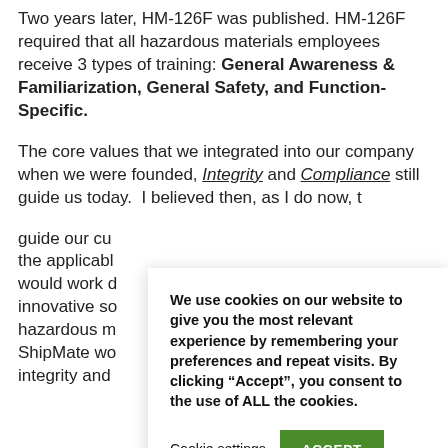Two years later, HM-126F was published. HM-126F required that all hazardous materials employees receive 3 types of training: General Awareness & Familiarization, General Safety, and Function-Specific.
The core values that we integrated into our company when we were founded, Integrity and Compliance still guide us today. I believed then, as I do now, t[hat these core values guide our cu[stomers beyond just meeting the applicab[le regulations... would work d[iligently to provide innovative so[lutions for hazardous m[aterials training. ShipMate wo[uld be built on integrity and [compliance.]
We use cookies on our website to give you the most relevant experience by remembering your preferences and repeat visits. By clicking “Accept”, you consent to the use of ALL the cookies.
Cookie settings
ACCEPT